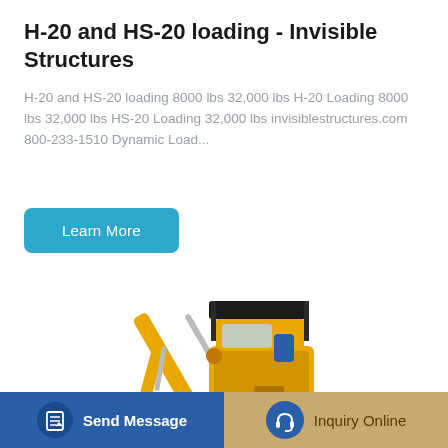H-20 and HS-20 loading - Invisible Structures
H-20 and HS-20 loading 8000 lbs 32,000 lbs H-20 Loading 8000 lbs 32,000 lbs HS-20 Loading 32,000 lbs invisiblestructures.com 800-233-1510 Dynamic Load...
Learn More
[Figure (photo): Yellow mini excavator with black canopy, hydraulic arm, and bucket attachment]
Send Message
Inquiry Online